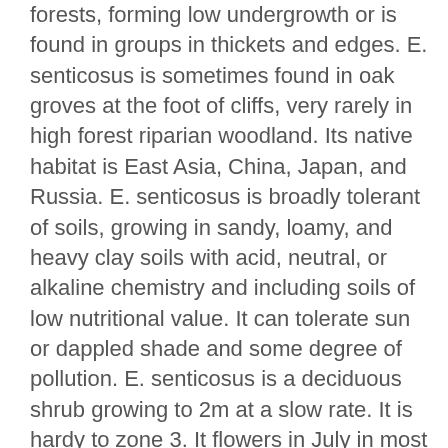forests, forming low undergrowth or is found in groups in thickets and edges. E. senticosus is sometimes found in oak groves at the foot of cliffs, very rarely in high forest riparian woodland. Its native habitat is East Asia, China, Japan, and Russia. E. senticosus is broadly tolerant of soils, growing in sandy, loamy, and heavy clay soils with acid, neutral, or alkaline chemistry and including soils of low nutritional value. It can tolerate sun or dappled shade and some degree of pollution. E. senticosus is a deciduous shrub growing to 2m at a slow rate. It is hardy to zone 3. It flowers in July in most habitats. The flowers are hermaphroditic and are pollinated by insects.
E. senticosus is a thought to be an adaptogen and there is a wide range of health benefits attributed to its use in herbal medicine.
In Chinese herbology, E. senticosis is used by people with bone marrow suppression caused by chemotherapy or radiation, angina, hypercholesterolemia, and neurasthenia with